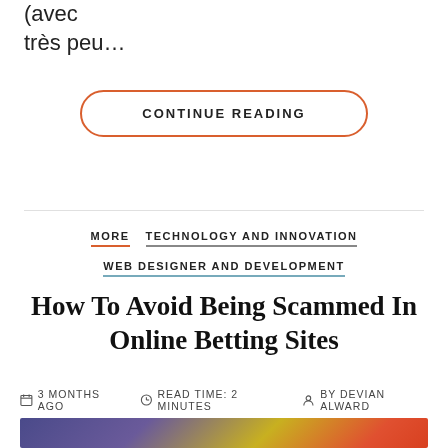... (text continues) predominant sorts (avec très peu...
CONTINUE READING
MORE   TECHNOLOGY AND INNOVATION   WEB DESIGNER AND DEVELOPMENT
How To Avoid Being Scammed In Online Betting Sites
3 MONTHS AGO   READ TIME: 2 MINUTES   BY DEVIAN ALWARD
[Figure (photo): Bottom strip of a photo showing cards and gambling-related imagery with purple, yellow and red tones]